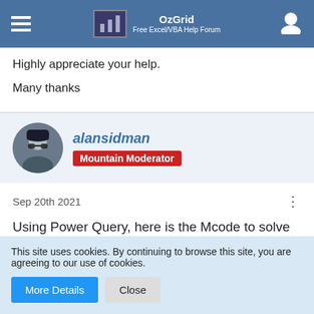OzGrid Free Excel/VBA Help Forum
Highly appreciate your help.
Many thanks
alansidman
Mountain Moderator
Sep 20th 2021
Using Power Query, here is the Mcode to solve
This site uses cookies. By continuing to browse this site, you are agreeing to our use of cookies.